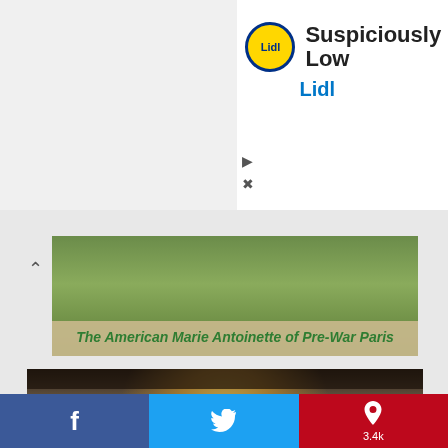[Figure (screenshot): Lidl advertisement banner with yellow/blue logo, text 'Suspiciously Low' and 'Lidl' in blue, with play and close icons]
[Figure (photo): Thumbnail image with green foliage background and beige overlay with article title]
The American Marie Antoinette of Pre-War Paris
[Figure (photo): Interior of an ornate palace with grand double staircase, chandelier, marble columns, white balustrades, and a bust sculpture on a pedestal]
Lunch at the Forgotten Rothschild Party Palace
Facebook share, Twitter share, Pinterest share 3.4k